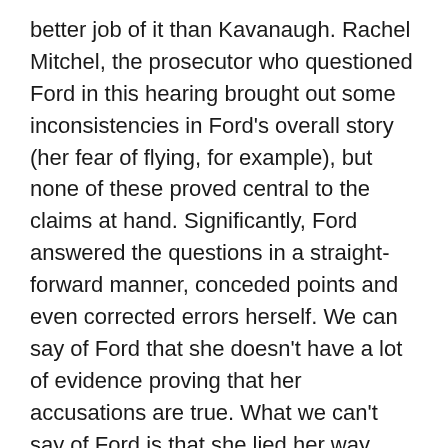better job of it than Kavanaugh. Rachel Mitchel, the prosecutor who questioned Ford in this hearing brought out some inconsistencies in Ford's overall story (her fear of flying, for example), but none of these proved central to the claims at hand. Significantly, Ford answered the questions in a straight-forward manner, conceded points and even corrected errors herself. We can say of Ford that she doesn't have a lot of evidence proving that her accusations are true. What we can't say of Ford is that she lied her way through the hearing.  Kavanaugh definitely did. So, if I have nothing else to go on than the credibility of the two people in question, then I know damned well which one to go with. Simply put, Ford proved herself to be a more trustworthy witness.
Would I want to see a man locked up with so little to go on?